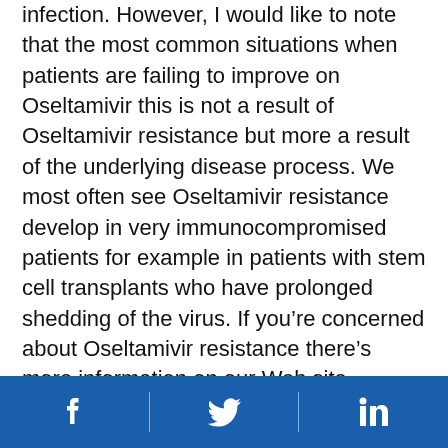infection. However, I would like to note that the most common situations when patients are failing to improve on Oseltamivir this is not a result of Oseltamivir resistance but more a result of the underlying disease process. We most often see Oseltamivir resistance develop in very immunocompromised patients for example in patients with stem cell transplants who have prolonged shedding of the virus. If you're concerned about Oseltamivir resistance there's more information on our Web site regarding this.
One other thing to note, I just want to make a brief comment about antibiotics and bacterial infections in influenza patients. As all of you know antibiotics are not effective against influenza. And several reports suggest that inappropriate use of antibiotics is
[Facebook] [Twitter] [LinkedIn]